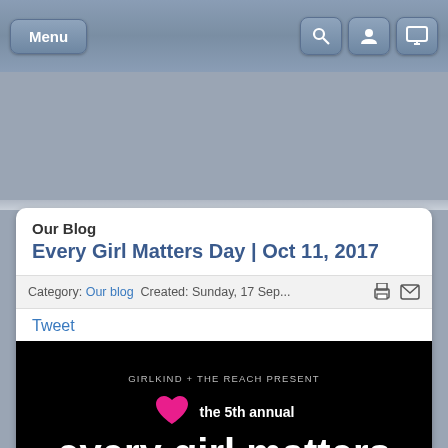Menu [search] [user] [display]
Our Blog
Every Girl Matters Day | Oct 11, 2017
Category: Our blog  Created: Sunday, 17 Sep...
Tweet
[Figure (illustration): Event poster on black background: GIRLKIND + THE REACH PRESENT the 5th annual every girl matters Day on Oct 11, 2017, with a pink heart graphic]